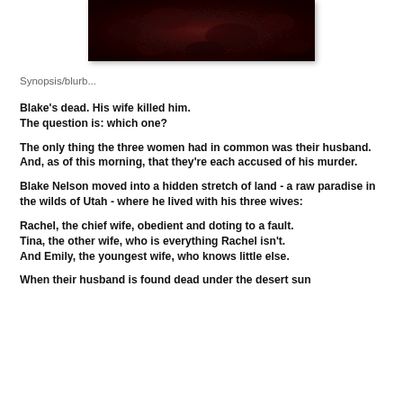[Figure (photo): Dark reddish-brown rocky/earthy textured image at the top of the page, serving as a book cover image partial view]
Synopsis/blurb...
Blake's dead. His wife killed him.
The question is: which one?

The only thing the three women had in common was their husband.
And, as of this morning, that they're each accused of his murder.

Blake Nelson moved into a hidden stretch of land - a raw paradise in the wilds of Utah - where he lived with his three wives:

Rachel, the chief wife, obedient and doting to a fault.
Tina, the other wife, who is everything Rachel isn't.
And Emily, the youngest wife, who knows little else.

When their husband is found dead under the desert sun